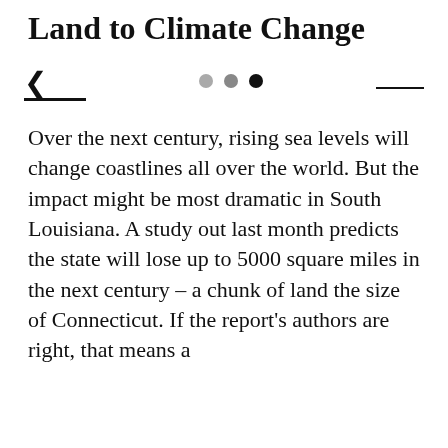Land to Climate Change
[Figure (other): Navigation UI elements: back arrow with line on left, three dots (light, medium, dark) in center, horizontal line on right]
Over the next century, rising sea levels will change coastlines all over the world. But the impact might be most dramatic in South Louisiana. A study out last month predicts the state will lose up to 5000 square miles in the next century – a chunk of land the size of Connecticut. If the report's authors are right, that means a